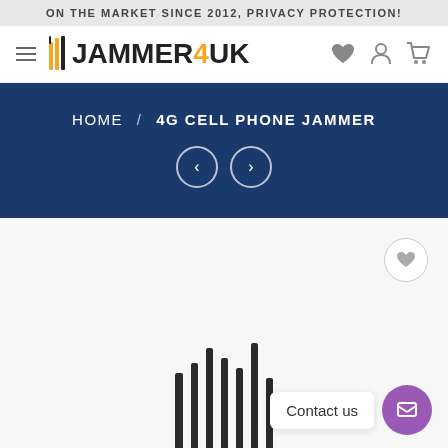ON THE MARKET SINCE 2012, PRIVACY PROTECTION!
[Figure (logo): Jammer4UK logo with antenna icon and orange '4' numeral]
HOME / 4G CELL PHONE JAMMER
[Figure (photo): Product image area showing antennas of a 4G cell phone jammer device at the bottom of the image]
Contact us